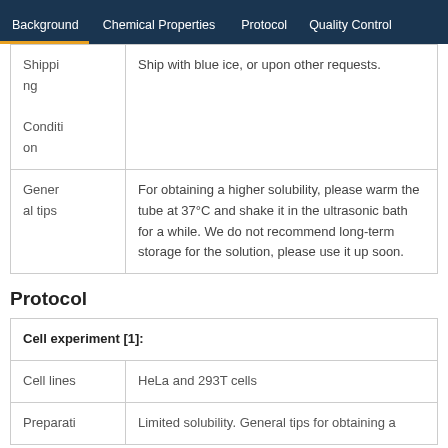Background | Chemical Properties | Protocol | Quality Control
| Shipping Condition | Ship with blue ice, or upon other requests. |
| General tips | For obtaining a higher solubility, please warm the tube at 37°C and shake it in the ultrasonic bath for a while. We do not recommend long-term storage for the solution, please use it up soon. |
Protocol
| Cell experiment [1]: |
| --- |
| Cell lines | HeLa and 293T cells |
| Preparati | Limited solubility. General tips for obtaining a |